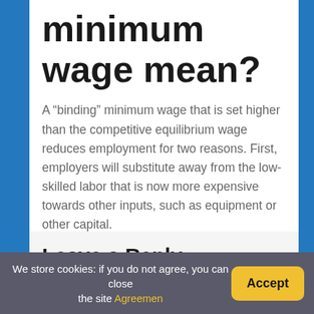minimum wage mean?
A “binding” minimum wage that is set higher than the competitive equilibrium wage reduces employment for two reasons. First, employers will substitute away from the low-skilled labor that is now more expensive towards other inputs, such as equipment or other capital.
Leave a Reply
We store cookies: if you do not agree, you can close the site Agreemen